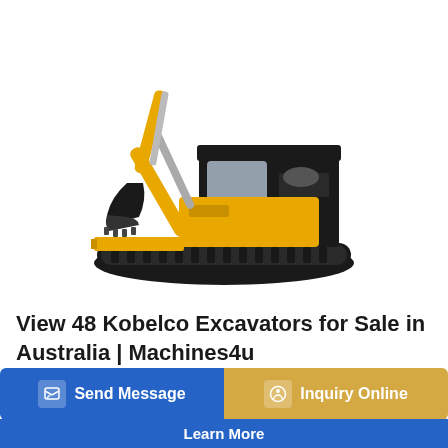[Figure (photo): Yellow and black Kobelco mini excavator on white background, shown in 3/4 view with bucket lowered and blade deployed]
View 48 Kobelco Excavators for Sale in Australia | Machines4u
17. Used Kobelco 2002 Excavator 4.5t. Kobelco SK45-2 2002 model, 3171hrs, JB power tilt and quick hitch. 300, 600, 1200 buckets. Tracks in good condition plenty of life....
Send Message
Inquiry Online
Learn More